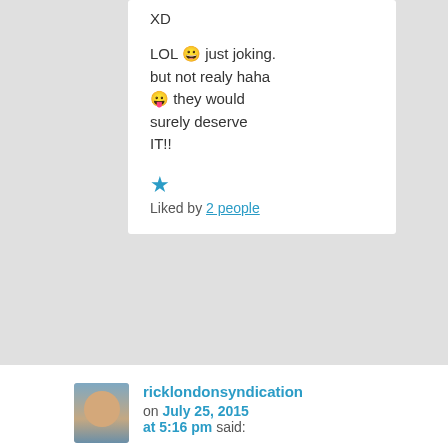XD
LOL 😀 just joking. but not realy haha 😛 they would surely deserve IT!!
★ Liked by 2 people
ricklondonsyndication on July 25, 2015 at 5:16 pm said:
Very well-written. I was a (very late) diagnosed aspie/autistic who was from an NPD scapegoat